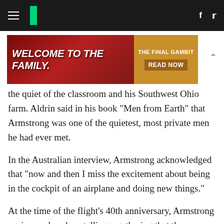HuffPost navigation header with hamburger menu, logo, Facebook and Twitter icons
[Figure (other): Advertisement banner: 'WELCOME TO THE FAMILY.' with 'THE FINAL GAMBIT READ NOW' call to action on gold background]
the quiet of the classroom and his Southwest Ohio farm. Aldrin said in his book "Men from Earth" that Armstrong was one of the quietest, most private men he had ever met.
In the Australian interview, Armstrong acknowledged that "now and then I miss the excitement about being in the cockpit of an airplane and doing new things."
At the time of the flight's 40th anniversary, Armstrong again was low-key, telling a gathering that the space race was "the ultimate peaceful